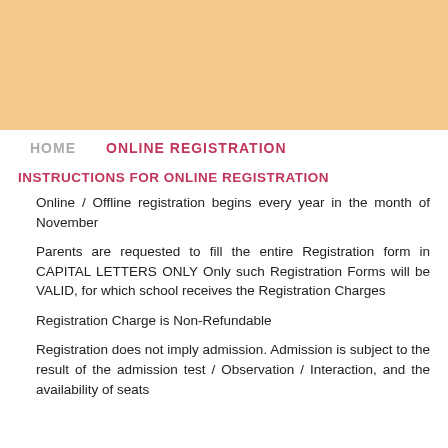HOME    ONLINE REGISTRATION
INSTRUCTIONS FOR ONLINE REGISTRATION
Online / Offline registration begins every year in the month of November
Parents are requested to fill the entire Registration form in CAPITAL LETTERS ONLY Only such Registration Forms will be VALID, for which school receives the Registration Charges
Registration Charge is Non-Refundable
Registration does not imply admission. Admission is subject to the result of the admission test / Observation / Interaction, and the availability of seats